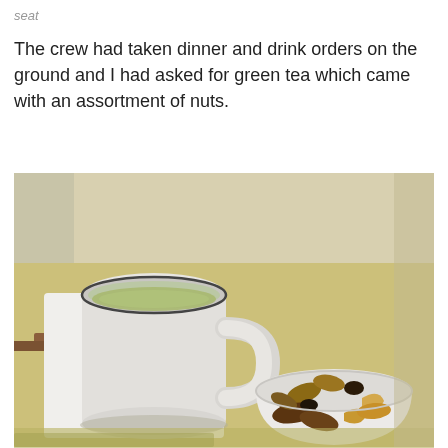seat
The crew had taken dinner and drink orders on the ground and I had asked for green tea which came with an assortment of nuts.
[Figure (photo): A white mug filled with green tea sitting on a white napkin/coaster on a yellow tray table, alongside a small white bowl filled with an assortment of mixed nuts including almonds, cashews, pecans, and raisins. The background shows a beige/cream aircraft interior.]